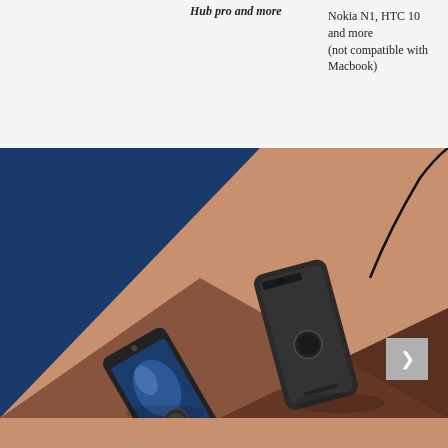Hub pro and more
Nokia N1, HTC 10 and more (not compatible with Macbook)
[Figure (photo): Two smartphones on a split blue and copper/brown geometric background surface, each connected via USB-C cables. Left phone is a Motorola Moto Z with blue reflective screen on blue background section. Right phone is a dark grey smartphone face-down on copper/brown background section. Geometric triangular color blocks create a graphic backdrop.]
[Figure (other): Navigation arrow button (grey square with white right-arrow icon) overlaid on bottom right of photo]